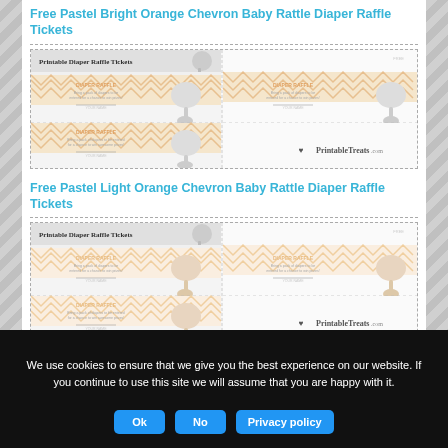Free Pastel Bright Orange Chevron Baby Rattle Diaper Raffle Tickets
[Figure (illustration): Printable Diaper Raffle Tickets preview showing four ticket mockups with orange chevron pattern and baby rattle graphic, watermarked PrintableTreats.com]
Free Pastel Light Orange Chevron Baby Rattle Diaper Raffle Tickets
[Figure (illustration): Printable Diaper Raffle Tickets preview showing four ticket mockups with lighter orange chevron pattern and baby rattle graphic, watermarked PrintableTreats.com]
We use cookies to ensure that we give you the best experience on our website. If you continue to use this site we will assume that you are happy with it.